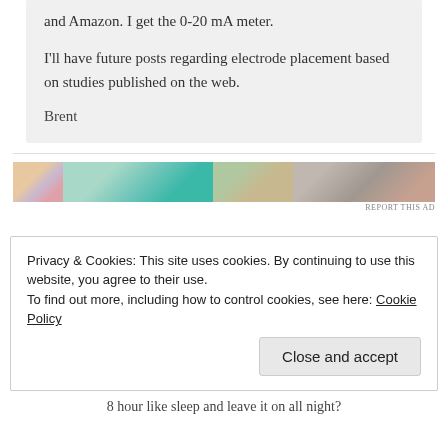and Amazon. I get the 0-20 mA meter.
I'll have future posts regarding electrode placement based on studies published on the web.
Brent
[Figure (other): Advertisement banner strip with colorful abstract imagery]
REPORT THIS AD
Privacy & Cookies: This site uses cookies. By continuing to use this website, you agree to their use.
To find out more, including how to control cookies, see here: Cookie Policy
Close and accept
8 hour like sleep and leave it on all night?